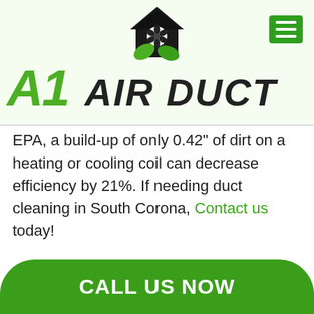[Figure (logo): A1 Air Duct logo with house/fan icon and green leaves, company name in green italic A1 and bold italic AIR DUCT text]
EPA, a build-up of only 0.42" of dirt on a heating or cooling coil can decrease efficiency by 21%. If needing duct cleaning in South Corona, Contact us today!
Air Duct Cleaning Service
CALL US NOW